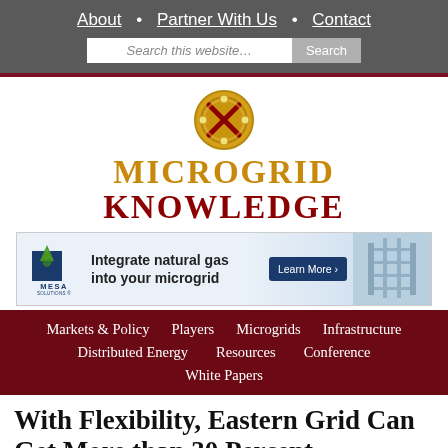About • Partner With Us • Contact
[Figure (logo): Microgrid Knowledge logo with circular icon and text MICROGRID KNOWLEDGE]
[Figure (infographic): Mesa Solutions advertisement banner: Integrate natural gas into your microgrid. Learn More button. Engineering diagram on right.]
Markets & Policy  Players  Microgrids  Infrastructure  Distributed Energy  Resources  Conference  White Papers
With Flexibility, Eastern Grid Can Get More than 30 Percent Renewables Online